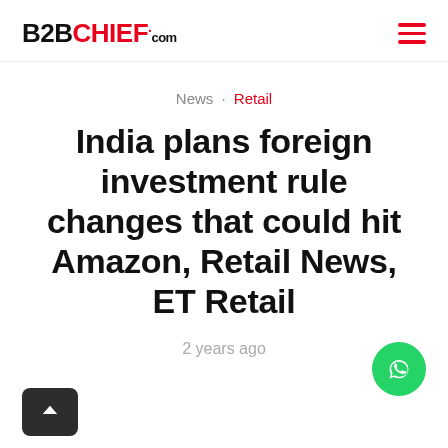B2BCHIEF.com
News · Retail
India plans foreign investment rule changes that could hit Amazon, Retail News, ET Retail
2 years ago